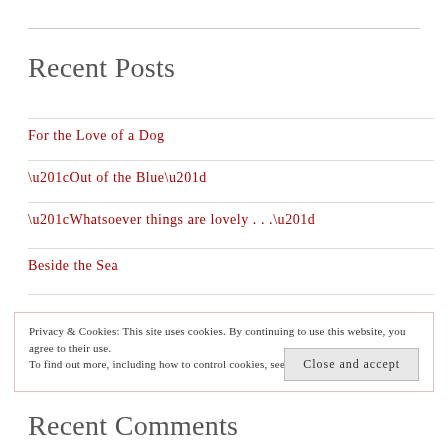Recent Posts
For the Love of a Dog
“Out of the Blue”
“Whatsoever things are lovely . . .”
Beside the Sea
Privacy & Cookies: This site uses cookies. By continuing to use this website, you agree to their use.
To find out more, including how to control cookies, see here: Cookie Policy
Close and accept
Recent Comments